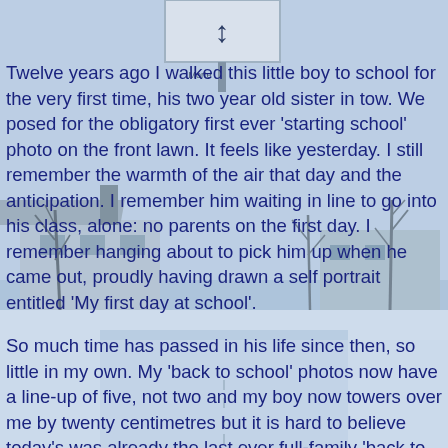[Figure (photo): Winter outdoor scene with snow-covered ground, bare trees, a house/building in the background, and what appears to be a road sign at the top. Blue-tinted winter daylight photo serving as background.]
Twelve years ago I walked this little boy to school for the very first time, his two year old sister in tow. We posed for the obligatory first ever 'starting school' photo on the front lawn. It feels like yesterday. I still remember the warmth of the air that day and the anticipation. I remember him waiting in line to go into his class, alone: no parents on the first day. I remember hanging about to pick him up when he came out, proudly having drawn a self portrait entitled 'My first day at school'.
So much time has passed in his life since then, so little in my own. My 'back to school' photos now have a line-up of five, not two and my boy now towers over me by twenty centimetres but it is hard to believe today's was already the last ever full-family 'back to school photo'. They were never all at school at the same time. Amaia could, of course, have started today but partly because she is so small and still too tired for a whole day, and also because I know how quickly this thirteen year period passes, I have deferred her school start till next summer. Marcel won't start uni until around